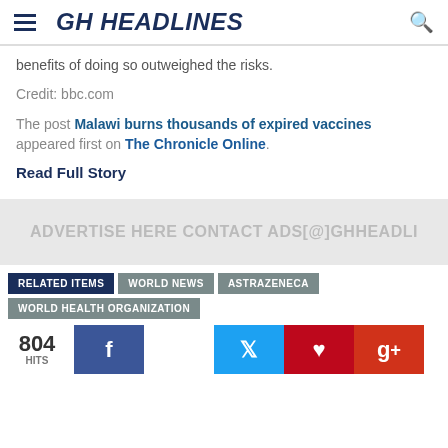GH HEADLINES
benefits of doing so outweighed the risks.
Credit: bbc.com
The post Malawi burns thousands of expired vaccines appeared first on The Chronicle Online.
Read Full Story
[Figure (other): Advertisement banner: ADVERTISE HERE CONTACT ADS[@]GHHEADLI]
RELATED ITEMS  WORLD NEWS  ASTRAZENECA  WORLD HEALTH ORGANIZATION
804 HITS